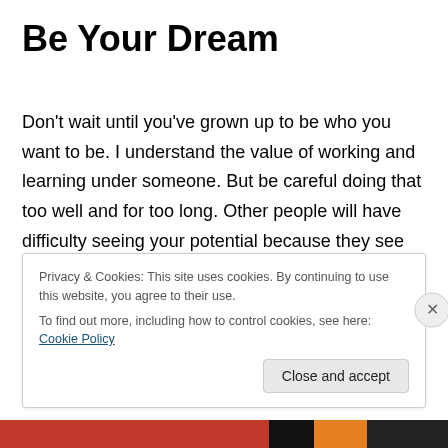Be Your Dream
Don’t wait until you’ve grown up to be who you want to be. I understand the value of working and learning under someone. But be careful doing that too well and for too long. Other people will have difficulty seeing your potential because they see you as an expert servant. Try to avoid being the best at anything out of line with your goals. Focus on your dream, and pursue it with a vengeance. Live it, breathe it, and ignore anyone who stands in your
Privacy & Cookies: This site uses cookies. By continuing to use this website, you agree to their use.
To find out more, including how to control cookies, see here: Cookie Policy
Close and accept